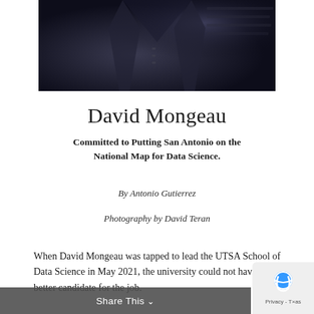[Figure (photo): Dark photograph of a person in a suit, cropped to show torso area, dark moody lighting]
David Mongeau
Committed to Putting San Antonio on the National Map for Data Science.
By Antonio Gutierrez
Photography by David Teran
When David Mongeau was tapped to lead the UTSA School of Data Science in May 2021, the university could not have selected a better candidate for the job.